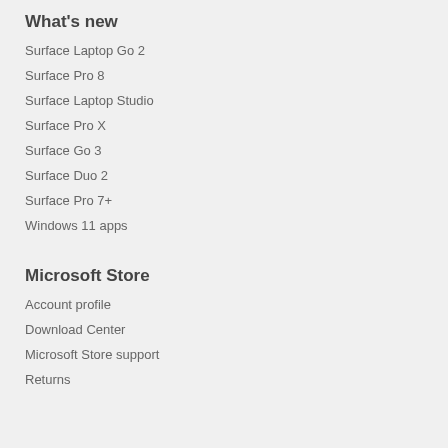What's new
Surface Laptop Go 2
Surface Pro 8
Surface Laptop Studio
Surface Pro X
Surface Go 3
Surface Duo 2
Surface Pro 7+
Windows 11 apps
Microsoft Store
Account profile
Download Center
Microsoft Store support
Returns